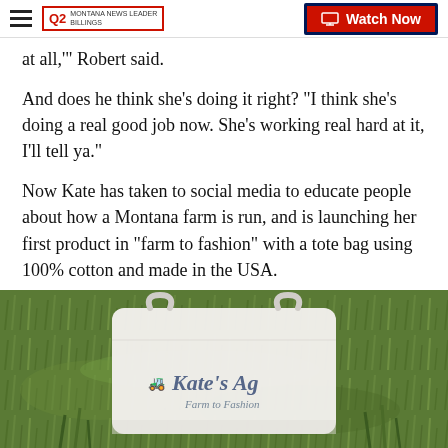Q2 MONTANA NEWS LEADER | Watch Now
at all,'’ Robert said.
And does he think she’s doing it right? “I think she’s doing a real good job now. She’s working real hard at it, I’ll tell ya.”
Now Kate has taken to social media to educate people about how a Montana farm is run, and is launching her first product in "farm to fashion" with a tote bag using 100% cotton and made in the USA.
[Figure (photo): A white tote bag with 'Kate's Ag Farm to Fashion' logo/text lying on green grass]